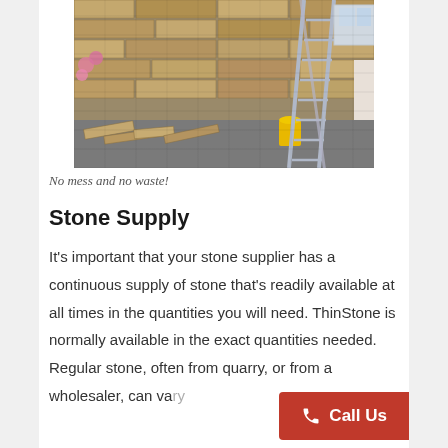[Figure (photo): Construction photo showing a stone wall being built on a house exterior, with a metal ladder leaning against the wall, stone slabs on the ground, and a yellow bucket nearby. Pink flowers visible on the left.]
No mess and no waste!
Stone Supply
It’s important that your stone supplier has a continuous supply of stone that’s readily available at all times in the quantities you will need. ThinStone is normally available in the exact quantities needed. Regular stone, often from quarry, or from a wholesaler, can vary